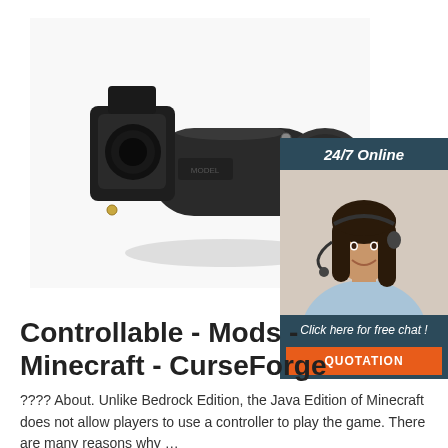[Figure (photo): Product photo of a black cylindrical industrial connector or sensor component, shown at an angle on a white background.]
[Figure (infographic): Sidebar banner with dark blue background showing '24/7 Online' text at top, a photo of a smiling woman with a headset, and at bottom 'Click here for free chat!' text with an orange QUOTATION button.]
Controllable - Mods - Minecraft - CurseForge
???? About. Unlike Bedrock Edition, the Java Edition of Minecraft does not allow players to use a controller to play the game. There are many reasons why …